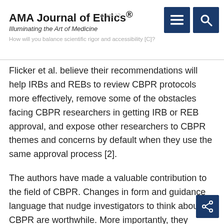AMA Journal of Ethics® Illuminating the Art of Medicine
Flicker et al. believe their recommendations will help IRBs and REBs to review CBPR protocols more effectively, remove some of the obstacles facing CBPR researchers in getting IRB or REB approval, and expose other researchers to CBPR themes and concerns by default when they use the same approval process [2].
The authors have made a valuable contribution to the field of CBPR. Changes in form and guidance language that nudge investigators to think about CBPR are worthwhile. More importantly, they continue the discussion concerning how institutional policies and guidance impact CBPR. Taken in that larger